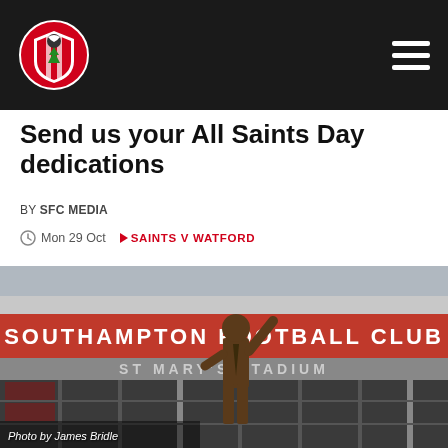Southampton FC
Send us your All Saints Day dedications
BY SFC MEDIA
Mon 29 Oct   SAINTS V WATFORD
[Figure (photo): Bronze statue of a man in a suit with arm raised in front of Southampton Football Club St Mary's Stadium facade with red lettering]
Photo by James Bridle